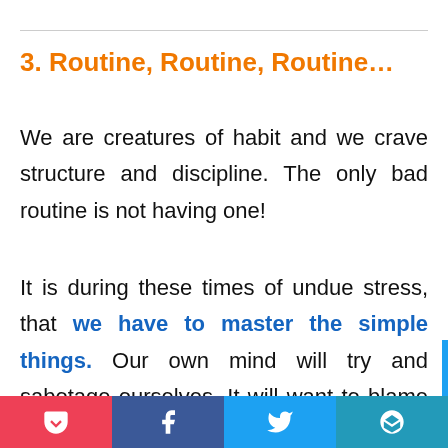3. Routine, Routine, Routine…
We are creatures of habit and we crave structure and discipline. The only bad routine is not having one!
It is during these times of undue stress, that we have to master the simple things. Our own mind will try and sabotage ourselves. It will want to blame others, convince us that this is permanent, and